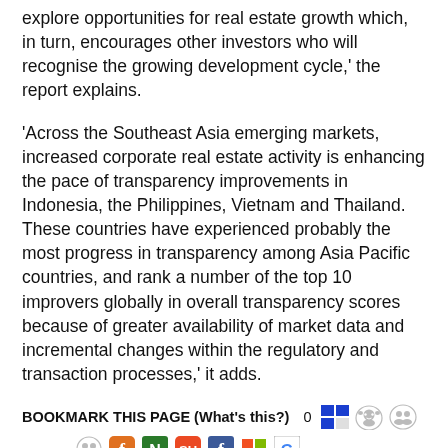explore opportunities for real estate growth which, in turn, encourages other investors who will recognise the growing development cycle,' the report explains.
'Across the Southeast Asia emerging markets, increased corporate real estate activity is enhancing the pace of transparency improvements in Indonesia, the Philippines, Vietnam and Thailand. These countries have experienced probably the most progress in transparency among Asia Pacific countries, and rank a number of the top 10 improvers globally in overall transparency scores because of greater availability of market data and incremental changes within the regulatory and transaction processes,' it adds.
BOOKMARK THIS PAGE (What's this?)   0  [icons]
Posted in
Property